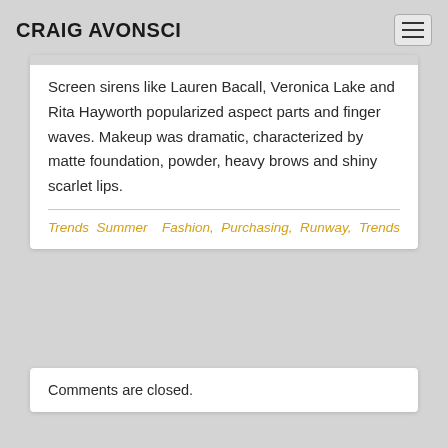CRAIG AVONSCI
Screen sirens like Lauren Bacall, Veronica Lake and Rita Hayworth popularized aspect parts and finger waves. Makeup was dramatic, characterized by matte foundation, powder, heavy brows and shiny scarlet lips.
Trends  Summer
Fashion,  Purchasing,  Runway,  Trends
Comments are closed.